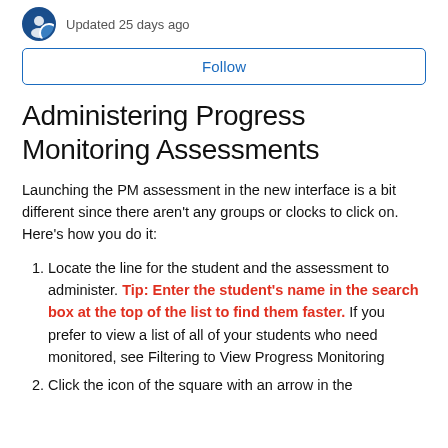Updated 25 days ago
Follow
Administering Progress Monitoring Assessments
Launching the PM assessment in the new interface is a bit different since there aren't any groups or clocks to click on. Here's how you do it:
Locate the line for the student and the assessment to administer. Tip: Enter the student's name in the search box at the top of the list to find them faster. If you prefer to view a list of all of your students who need monitored, see Filtering to View Progress Monitoring
Click the icon of the square with an arrow in the